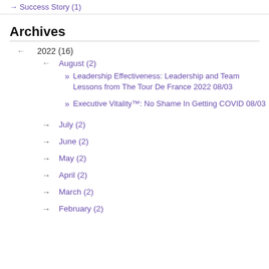→ Success Story (1)
Archives
← 2022 (16)
← August (2)
» Leadership Effectiveness: Leadership and Team Lessons from The Tour De France 2022 08/03
» Executive Vitality™: No Shame In Getting COVID 08/03
→ July (2)
→ June (2)
→ May (2)
→ April (2)
→ March (2)
→ February (2)